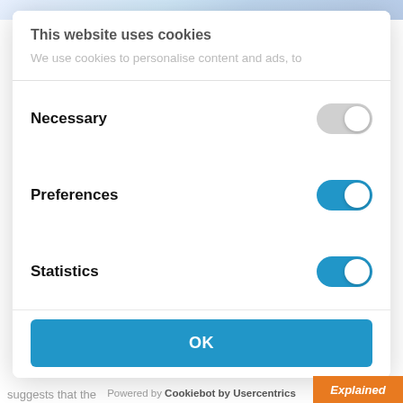This website uses cookies
We use cookies to personalise content and ads, to
Necessary
Preferences
Statistics
OK
Powered by Cookiebot by Usercentrics
suggests that the
Explained